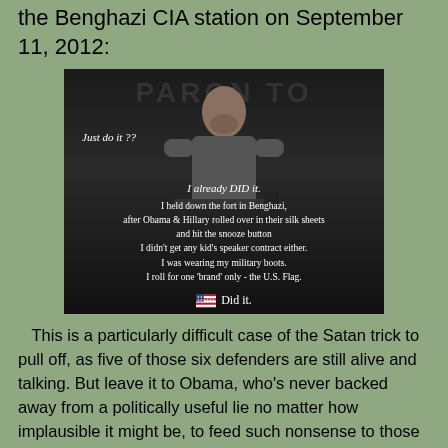the Benghazi CIA station on September 11, 2012:
[Figure (photo): A meme showing a man in military gear holding a weapon. Text overlay reads: 'Just do it ??' / 'I already DID it.' / 'I held down the fort in Benghazi, after Obama & Hillary rolled over in their silk sheets and hit the snooze button' / 'I didn’t get any kid’s speaker contract either. I was wearing my military boots.' / 'I roll for one ‘brand’ only - the U.S. Flag.' / US Flag emoji / 'Did it.' Background text: PARQN TO]
This is a particularly difficult case of the Satan trick to pull off, as five of those six defenders are still alive and talking. But leave it to Obama, who’s never backed away from a politically useful lie no matter how implausible it might be, to feed such nonsense to those still willing to listen to him.
On the more immediately political front, we have the “Russian collusion” investigation. This farce has turned up